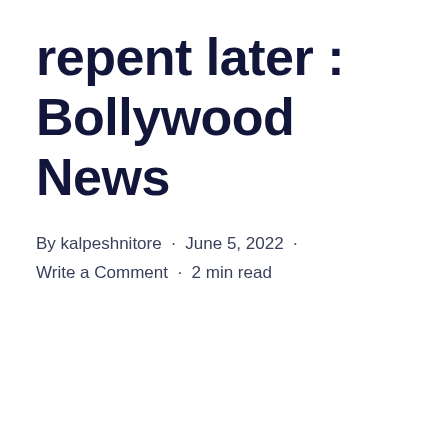repent later : Bollywood News
By kalpeshnitore · June 5, 2022 · Write a Comment · 2 min read